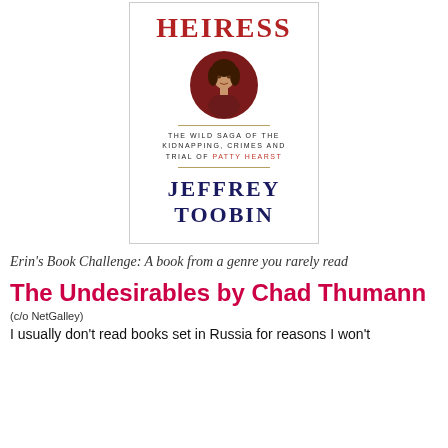[Figure (illustration): Book cover for 'American Heiress' by Jeffrey Toobin. Shows the word HEIRESS in bold red at the top, a circular portrait of a woman on a dark red background, subtitle text 'THE WILD SAGA OF THE KIDNAPPING, CRIMES AND TRIAL OF PATTY HEARST', gold divider lines, and author name JEFFREY TOOBIN in large dark navy letters.]
Erin's Book Challenge: A book from a genre you rarely read
The Undesirables by Chad Thumann
(c/o NetGalley)
I usually don't read books set in Russia for reasons I won't